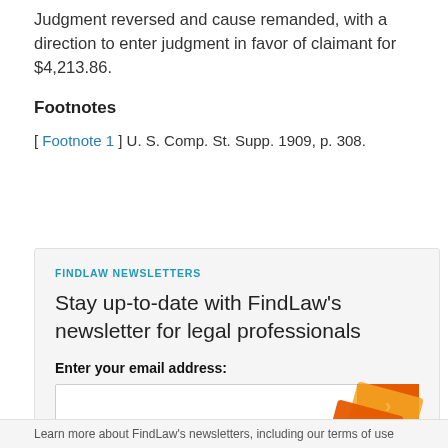Judgment reversed and cause remanded, with a direction to enter judgment in favor of claimant for $4,213.86.
Footnotes
[ Footnote 1 ] U. S. Comp. St. Supp. 1909, p. 308.
[Figure (infographic): FindLaw Newsletters signup box with label 'FINDLAW NEWSLETTERS', headline 'Stay up-to-date with FindLaw's newsletter for legal professionals', email input field with orange submit arrow button, and decorative orange double-chevron logo.]
Learn more about FindLaw's newsletters, including our terms of use...